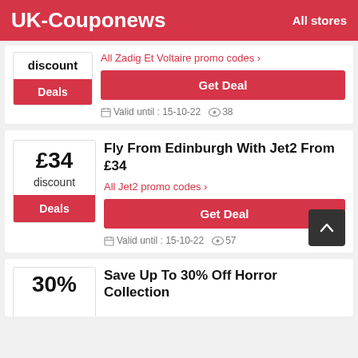UK-Couponews    All stores
discount
Deals
All Zadig Et Voltaire promo codes >
Get Deal
Valid until : 15-10-22   38
Fly From Edinburgh With Jet2 From £34
£34
discount
Deals
All Jet2 promo codes >
Get Deal
Valid until : 15-10-22   57
Save Up To 30% Off Horror Collection
30%